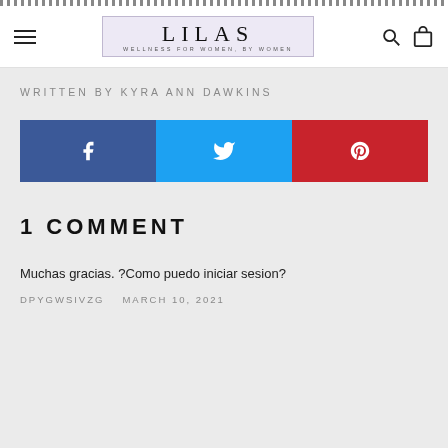LILAS — WELLNESS FOR WOMEN, BY WOMEN
WRITTEN BY KYRA ANN DAWKINS
[Figure (infographic): Three social share buttons: Facebook (blue), Twitter (cyan), Pinterest (red), each with respective icon]
1 COMMENT
Muchas gracias. ?Como puedo iniciar sesion?
DPYGWSIVZG    MARCH 10, 2021